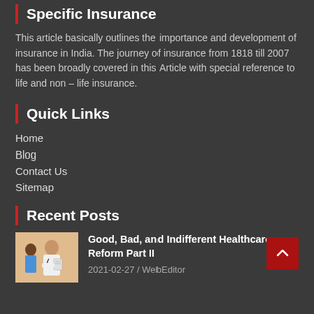Specific Insurance
This article basically outlines the importance and development of insurance in India. The journey of insurance from 1818 till 2007 has been broadly covered in this Article with special reference to life and non – life insurance.
Quick Links
Home
Blog
Contact Us
Sitemap
Recent Posts
[Figure (photo): Photo of a healthcare professional wearing a stethoscope and writing on a clipboard]
Good, Bad, and Indifferent Healthcare Reform Part II
2021-02-27 / WebEditor